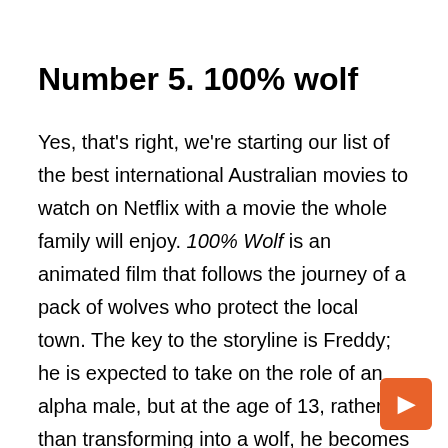Number 5. 100% wolf
Yes, that's right, we're starting our list of the best international Australian movies to watch on Netflix with a movie the whole family will enjoy. 100% Wolf is an animated film that follows the journey of a pack of wolves who protect the local town. The key to the storyline is Freddy; he is expected to take on the role of an alpha male, but at the age of 13, rather than transforming into a wolf, he becomes an adorable poodle instead. Does the cuddly pooch have what it takes to keep everything on track? It's worth